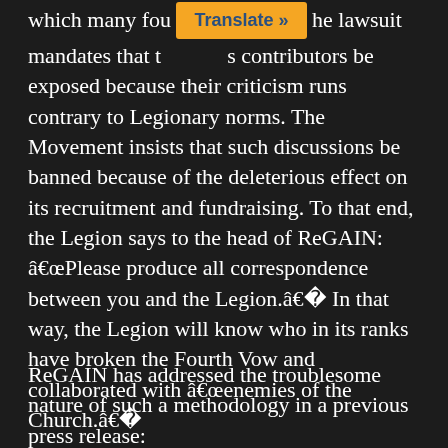which many fou... the lawsuit mandates that t...s contributors be exposed because their criticism runs contrary to Legionary norms. The Movement insists that such discussions be banned because of the deleterious effect on its recruitment and fundraising. To that end, the Legion says to the head of ReGAIN: â€œPlease produce all correspondence between you and the Legion.â€� In that way, the Legion will know who in its ranks have broken the Fourth Vow and collaborated with â€œenemies of the Church.â€�
ReGAIN has addressed the troublesome nature of such a methodology in a previous press release: